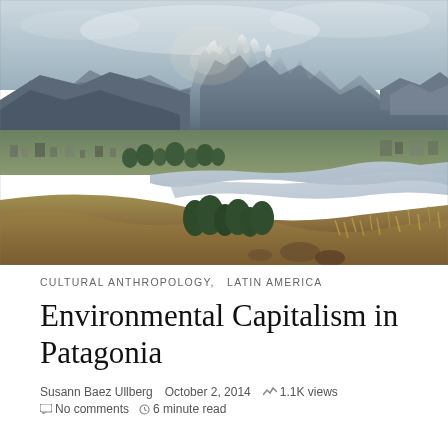[Figure (photo): Aerial/elevated landscape photograph of Patagonia showing a river winding through a valley town with dramatic rocky mountain peaks (Torres del Paine style) in the background under a cloudy sky. Foreground shows dry golden grass and rocks. The river curves through a flat valley with scattered buildings and green vegetation.]
CULTURAL ANTHROPOLOGY,   LATIN AMERICA
Environmental Capitalism in Patagonia
Susann Baez Ullberg   October 2, 2014   🗲 1.1K views
No comments   6 minute read